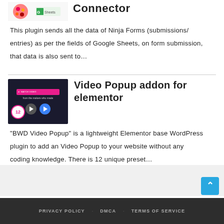[Figure (screenshot): Plugin thumbnail showing Google Sheets connector icon]
Connector
This plugin sends all the data of Ninja Forms (submissions/entries) as per the fields of Google Sheets, on form submission, that data is also sent to…
[Figure (screenshot): Video Popup addon for elementor plugin thumbnail with play buttons and badge showing 12]
Video Popup addon for elementor
“BWD Video Popup” is a lightweight Elementor base WordPress plugin to add an Video Popup to your website without any coding knowledge. There is 12 unique preset…
PRIVACY POLICY   DMCA   TERMS OF SERVICE